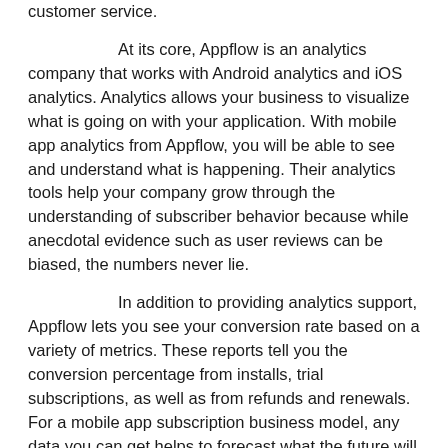customer service.
At its core, Appflow is an analytics company that works with Android analytics and iOS analytics. Analytics allows your business to visualize what is going on with your application. With mobile app analytics from Appflow, you will be able to see and understand what is happening. Their analytics tools help your company grow through the understanding of subscriber behavior because while anecdotal evidence such as user reviews can be biased, the numbers never lie.
In addition to providing analytics support, Appflow lets you see your conversion rate based on a variety of metrics. These reports tell you the conversion percentage from installs, trial subscriptions, as well as from refunds and renewals. For a mobile app subscription business model, any data you can get helps to forecast what the future will look like. Conversion